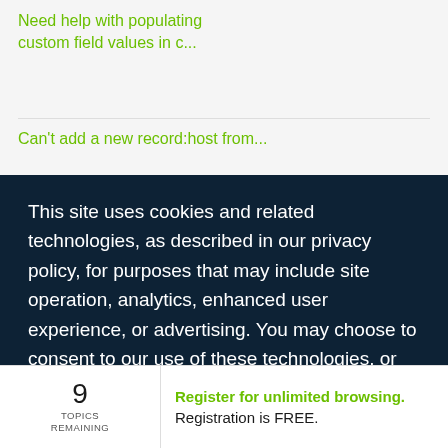Need help with populating custom field values in c...
Can't add a new record:host from...
This site uses cookies and related technologies, as described in our privacy policy, for purposes that may include site operation, analytics, enhanced user experience, or advertising. You may choose to consent to our use of these technologies, or manage your own preferences.
MANAGE SETTINGS
ACCEPT
9
TOPICS REMAINING
Register for unlimited browsing. Registration is FREE.